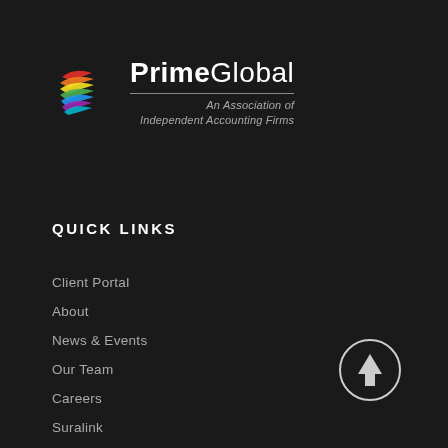[Figure (logo): PrimeGlobal logo with colorful wing/ribbon icon, company name in bold white text, and tagline 'An Association of Independent Accounting Firms' in italic gray below a horizontal line]
QUICK LINKS
Client Portal
About
News & Events
Our Team
Careers
Suralink
E-Organizer
Track Refund
Golf Fundraiser
[Figure (illustration): Circle with upward-pointing arrow icon (back to top button) in white outline on dark background]